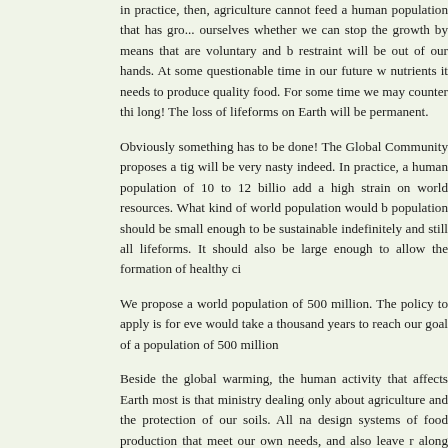in practice, then, agriculture cannot feed a human population that has grown beyond itself. We must ask ourselves whether we can stop the growth by means that are voluntary and b... restraint will be out of our hands. At some questionable time in our future w... nutrients it needs to produce quality food. For some time we may counter thi... long! The loss of lifeforms on Earth will be permanent.
Obviously something has to be done! The Global Community proposes a tig... will be very nasty indeed. In practice, a human population of 10 to 12 billion... add a high strain on world resources. What kind of world population would b... population should be small enough to be sustainable indefinitely and still all... lifeforms. It should also be large enough to allow the formation of healthy ci...
We propose a world population of 500 million. The policy to apply is for eve... would take a thousand years to reach our goal of a population of 500 million...
Beside the global warming, the human activity that affects Earth most is tha... ministry dealing only about agriculture and the protection of our soils. All na... design systems of food production that meet our own needs, and also leave r... along with us. Western agriculture is designed in the end to maximize profit... concern of the human species is to feed people. Therefore we have to do thi... livestock as we effectively double the population we need to feed: ourselves... feeding us. We also have to apportion the land surface of the whole world m... food production (which makes use of less land), some for extensive agricultu... conservation) and designing some specifically as wilderness areas with glob... help natives of British Columbia, Canada, to settle their land claims in their ... can help protecting wildlife, at least for now. There should be a definite and ... natives that it is what they will do with the land and not turn it into a huge in...
Global warming is certainly affecting the survival of these other lifeforms...